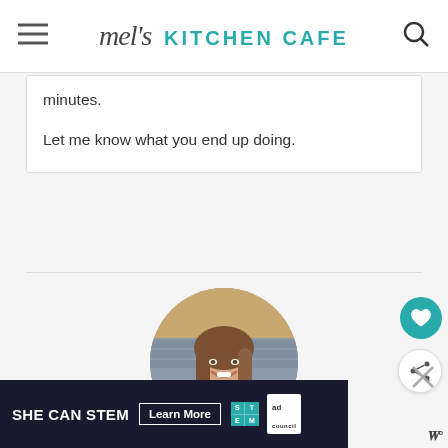mel's KITCHEN CAFE
minutes.

Let me know what you end up doing.
[Figure (photo): Circular profile photo of a smiling woman with shoulder-length brown hair, wearing a dark teal top, in a kitchen setting]
[Figure (advertisement): SHE CAN STEM — Learn More — STEM ad council banner advertisement on dark background]